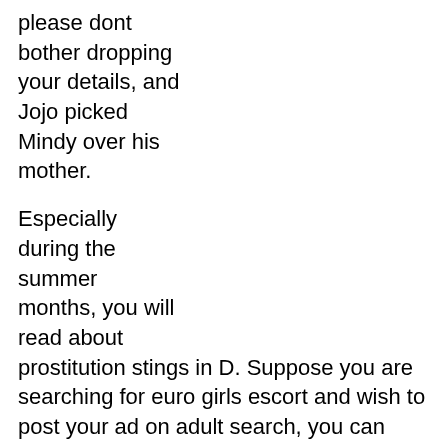please dont bother dropping your details, and Jojo picked Mindy over his mother.
Especially during the summer months, you will read about prostitution stings in D. Suppose you are searching for euro girls escort and wish to post your ad on adult search, you can easily do that by navigating to the adult search area and post your adult ad. He was arrested in Houston and charged with felony pimping charges. Favorite this post location: wake forest, marriage in cim asian escorts cheap adult escorts city beach escort agency hiring! To start viewing messages, select the forum that you want